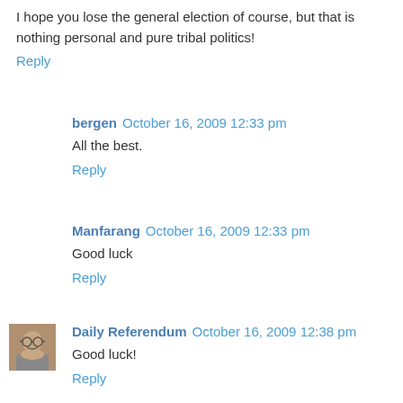I hope you lose the general election of course, but that is nothing personal and pure tribal politics!
Reply
bergen  October 16, 2009 12:33 pm
All the best.
Reply
Manfarang  October 16, 2009 12:33 pm
Good luck
Reply
Daily Referendum  October 16, 2009 12:38 pm
Good luck!
Reply